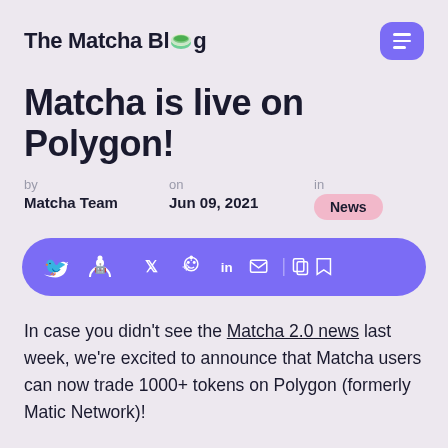The Matcha Blog
Matcha is live on Polygon!
by Matcha Team  on Jun 09, 2021  in News
[Figure (infographic): Social sharing bar with Twitter, Reddit, LinkedIn, email, copy, and bookmark icons on a purple rounded rectangle background]
In case you didn’t see the Matcha 2.0 news last week, we’re excited to announce that Matcha users can now trade 1000+ tokens on Polygon (formerly Matic Network)!